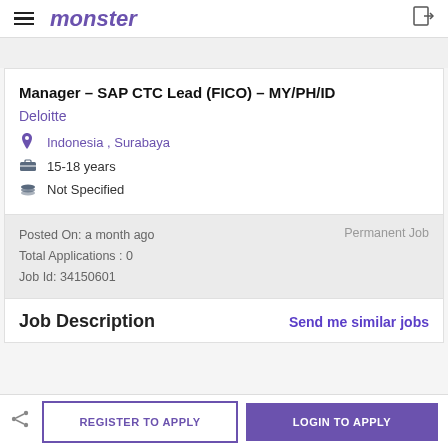monster
Manager - SAP CTC Lead (FICO) - MY/PH/ID
Deloitte
Indonesia , Surabaya
15-18 years
Not Specified
Posted On: a month ago
Total Applications : 0
Job Id: 34150601
Permanent Job
Job Description
Send me similar jobs
REGISTER TO APPLY    LOGIN TO APPLY